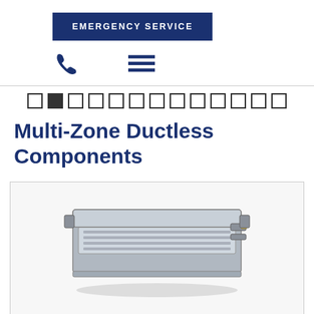EMERGENCY SERVICE
[Figure (illustration): Phone icon and hamburger menu icon in dark navy blue]
[Figure (other): Carousel navigation dots, one filled (active) and the rest empty]
Multi-Zone Ductless Components
[Figure (photo): A ductless mini-split cassette/concealed duct indoor unit shown in a product box with light gray border]